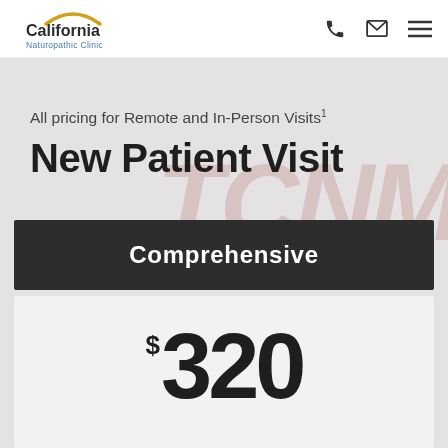[Figure (logo): California Naturopathic Clinic logo with golden arch above text]
All pricing for Remote and In-Person Visits¹
New Patient Visit
Comprehensive
$320